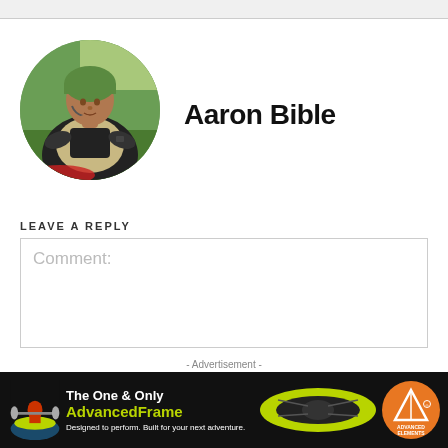[Figure (photo): Circular profile photo of Aaron Bible, a man wearing a green helmet and life jacket/PFD gear outdoors in a green wooded setting]
Aaron Bible
LEAVE A REPLY
Comment:
- Advertisement -
[Figure (photo): Advertisement banner for Advanced Elements AdvancedFrame kayak. Dark background with green kayak image, text reads: The One & Only AdvancedFrame - Designed to perform. Built for your next adventure. Advanced Elements logo on right.]